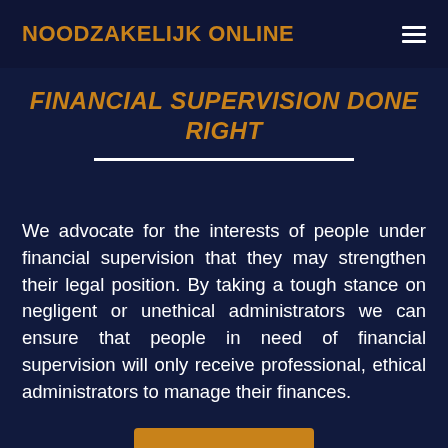NOODZAKELIJK ONLINE
FINANCIAL SUPERVISION DONE RIGHT
We advocate for the interests of people under financial supervision that they may strengthen their legal position. By taking a tough stance on negligent or unethical administrators we can ensure that people in need of financial supervision will only receive professional, ethical administrators to manage their finances.